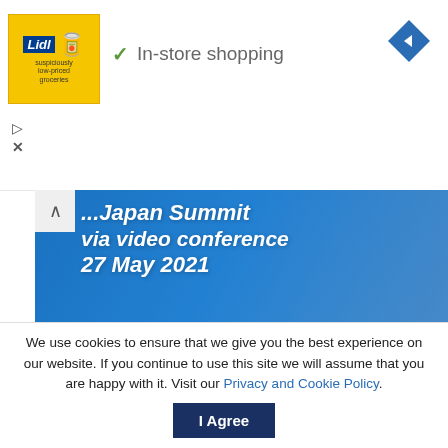[Figure (screenshot): Lidl advertisement banner with 'In-store shopping' text and a checkmark, plus a blue diamond navigation icon on the right]
[Figure (photo): EU-Japan summit via video conference 27 May 2021 banner image with a man in a suit and ASIA-PACIFIC tag]
Olympics: EU supports Japan to host safe 2021 Games in Tokyo
27/05/2021
We use cookies to ensure that we give you the best experience on our website. If you continue to use this site we will assume that you are happy with it. Visit our Privacy and Cookie Policy.